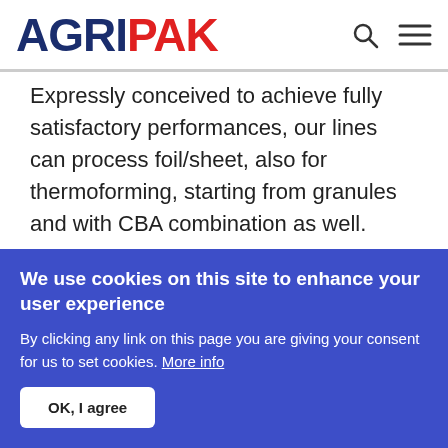AGRIPAK
Expressly conceived to achieve fully satisfactory performances, our lines can process foil/sheet, also for thermoforming, starting from granules and with CBA combination as well.
READ MORE
[Figure (photo): Colorful thread spools arranged in a fan/wheel shape on a white background, showing orange, red, pink, and purple colors]
We use cookies on this site to enhance your user experience
By clicking any link on this page you are giving your consent for us to set cookies. More info
OK, I agree